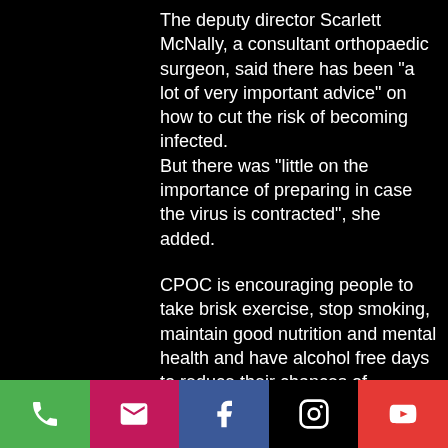The deputy director Scarlett McNally, a consultant orthopaedic surgeon, said there has been "a lot of very important advice" on how to cut the risk of becoming infected.
But there was "little on the importance of preparing in case the virus is contracted", she added.
CPOC is encouraging people to take brisk exercise, stop smoking, maintain good nutrition and mental health and have alcohol free days to reduce their chances of becoming severely ill from the virus and over-burdening the NHS. People are also being urged to take action on their fitness now to cut the risk of developing other health problems which could put further
[Figure (screenshot): Mobile app toolbar with five icon buttons: phone (green), mail (pink/magenta), Facebook (blue), Instagram (black), YouTube (red)]